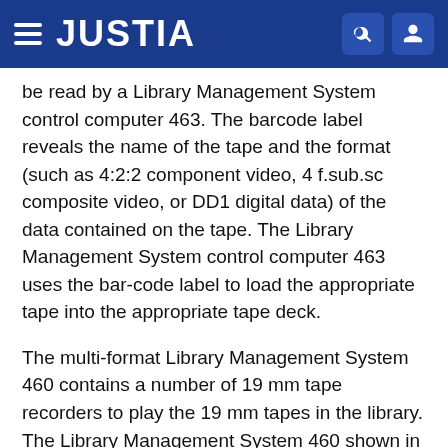JUSTIA
be read by a Library Management System control computer 463. The barcode label reveals the name of the tape and the format (such as 4:2:2 component video, 4 f.sub.sc composite video, or DD1 digital data) of the data contained on the tape. The Library Management System control computer 463 uses the bar-code label to load the appropriate tape into the appropriate tape deck.
The multi-format Library Management System 460 contains a number of 19 mm tape recorders to play the 19 mm tapes in the library. The Library Management System 460 shown in FIG. 21 contains two D1 video tape recorders 464, two D2 video tape recorders 465, and one DD1 digital data recorder 466. The D1 video tape recorders 464 and D2 video tape recorders 465 are each connected to the AV LAN 420 through a device